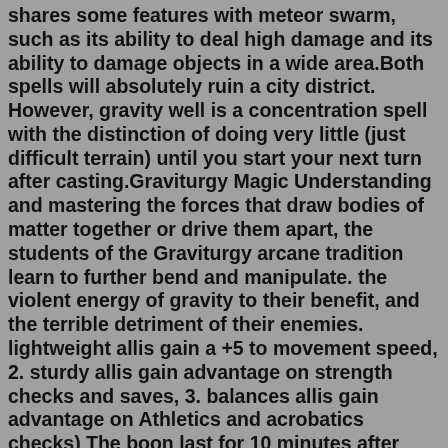shares some features with meteor swarm, such as its ability to deal high damage and its ability to damage objects in a wide area.Both spells will absolutely ruin a city district. However, gravity well is a concentration spell with the distinction of doing very little (just difficult terrain) until you start your next turn after casting.Graviturgy Magic Understanding and mastering the forces that draw bodies of matter together or drive them apart, the students of the Graviturgy arcane tradition learn to further bend and manipulate. the violent energy of gravity to their benefit, and the terrible detriment of their enemies. lightweight allis gain a +5 to movement speed, 2. sturdy allis gain advantage on strength checks and saves, 3. balances allis gain advantage on Athletics and acrobatics checks) The boon last for 10 minutes after which you must either complete a short or long rest or expend a spell of first level or higher to use this ability again.Drow (sing & pl; pronounced: /draʊ/ drow or: /droʊ/ dro), also known as dark elves, deep